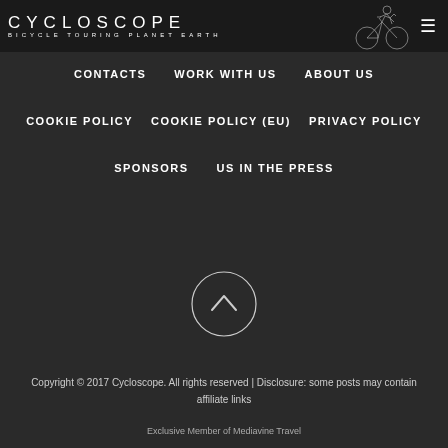CYCLOSCOPE BICYCLE TOURING PLANET EARTH
CONTACTS
WORK WITH US
ABOUT US
COOKIE POLICY
COOKIE POLICY (EU)
PRIVACY POLICY
SPONSORS
US IN THE PRESS
[Figure (illustration): Circle button with upward chevron arrow for scrolling to top]
Copyright © 2017 Cycloscope. All rights reserved | Disclosure: some posts may contain affiliate links
Exclusive Member of Mediavine Travel